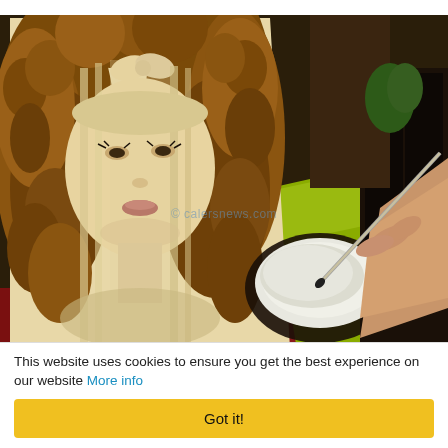[Figure (photo): A photograph showing a hand holding a paintbrush dipping into a small bowl of white paint, working on a portrait painting of a woman with long blonde hair and a bow, with voluminous curly brown hair around her. The painting is set against a background with a yellow-green surface. A watermark reads '© calersnews.com'. A photo credit in the bottom right reads 'Caters News Agency Ltd'.]
This website uses cookies to ensure you get the best experience on our website More info
Got it!